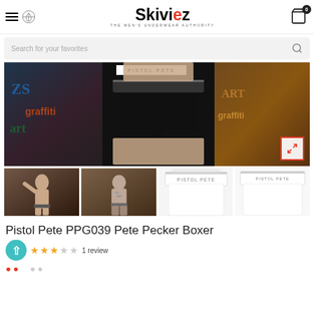Skiviez - THE MEN'S UNDERWEAR AUTHORITY
[Figure (screenshot): Search bar with placeholder text 'Search for your favorites' and search icon]
[Figure (photo): Main product photo: black sheer mesh boxer shorts (Pistol Pete brand) on male model, with graffiti wall background and expand icon]
[Figure (photo): Four thumbnail photos of the Pistol Pete PPG039 Pete Pecker Boxer in black and white colorways]
Pistol Pete PPG039 Pete Pecker Boxer
1 review